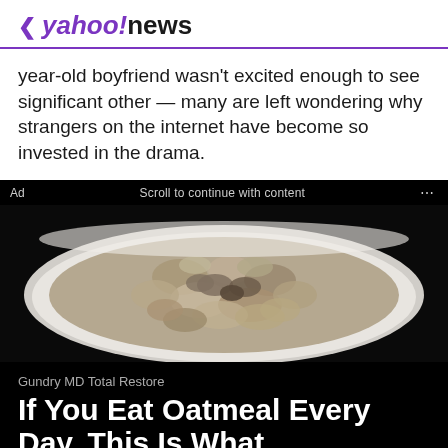< yahoo!news
year-old boyfriend wasn't excited enough to see significant other — many are left wondering why strangers on the internet have become so invested in the drama.
Ad   Scroll to continue with content   ...
[Figure (photo): A white bowl filled with oatmeal viewed from above, on a dark background]
Gundry MD Total Restore
If You Eat Oatmeal Every Day, This Is What